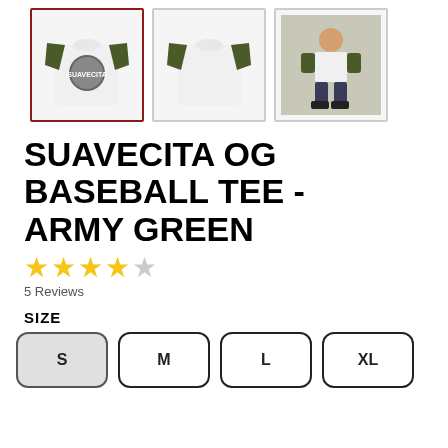[Figure (photo): Three thumbnail images of a baseball tee shirt in army green/white. First thumbnail is selected (red border): front view with graphic. Second: back/plain view. Third: lifestyle photo of woman wearing it.]
SUAVECITA OG BASEBALL TEE - ARMY GREEN
★★★★☆ 5 Reviews
SIZE
S  M  L  XL